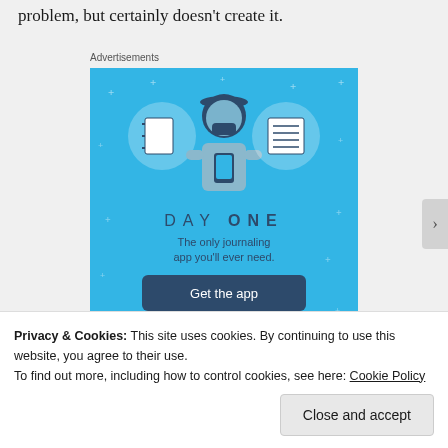problem, but certainly doesn't create it.
Advertisements
[Figure (illustration): Day One journaling app advertisement. Blue background with illustrated person holding phone, flanked by two circular icons showing notebook and lined paper. Text: DAY ONE - The only journaling app you'll ever need. Button: Get the app]
Privacy & Cookies: This site uses cookies. By continuing to use this website, you agree to their use.
To find out more, including how to control cookies, see here: Cookie Policy
Close and accept